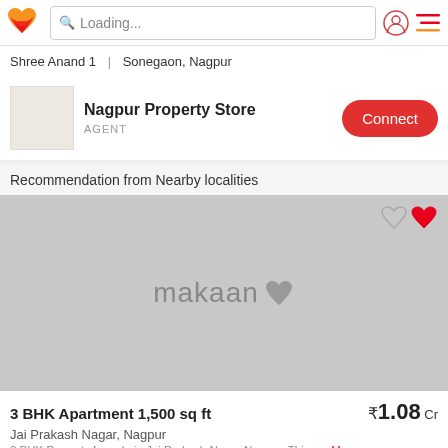Loading...
Shree Anand 1 | Sonegaon, Nagpur
Nagpur Property Store
AGENT
Connect
Recommendation from Nearby localities
[Figure (photo): Property listing placeholder image with makaan logo watermark and heart/favourite icons]
3 BHK Apartment 1,500 sq ft
₹1.08 Cr
Jai Prakash Nagar, Nagpur
3 BHK Property for sale in Jai Prakash Nagar Nagpur: This s... More